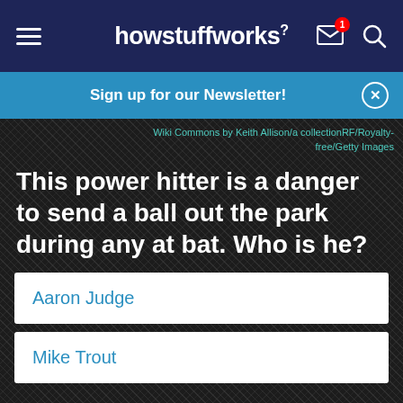howstuffworks
Sign up for our Newsletter!
Wiki Commons by Keith Allison/a collectionRF/Royalty-free/Getty Images
This power hitter is a danger to send a ball out the park during any at bat. Who is he?
Aaron Judge
Mike Trout